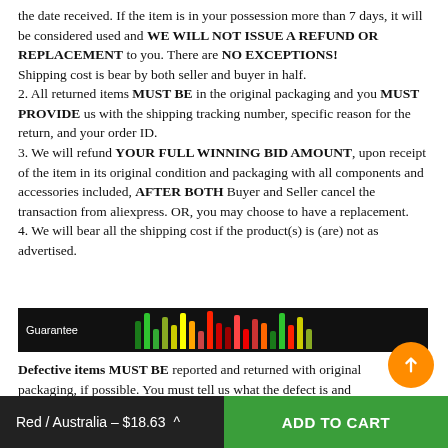the date received. If the item is in your possession more than 7 days, it will be considered used and WE WILL NOT ISSUE A REFUND OR REPLACEMENT to you. There are NO EXCEPTIONS!
Shipping cost is bear by both seller and buyer in half.
2. All returned items MUST BE in the original packaging and you MUST PROVIDE us with the shipping tracking number, specific reason for the return, and your order ID.
3. We will refund YOUR FULL WINNING BID AMOUNT, upon receipt of the item in its original condition and packaging with all components and accessories included, AFTER BOTH Buyer and Seller cancel the transaction from aliexpress. OR, you may choose to have a replacement.
4. We will bear all the shipping cost if the product(s) is (are) not as advertised.
[Figure (photo): Dark banner image with multicolored vertical bars (green, yellow, red) on a black background, with the label 'Guarantee' overlaid in white text on the left side.]
Defective items MUST BE reported and returned with original packaging, if possible. You must tell us what the defect is and
Red / Australia – $18.63   ADD TO CART